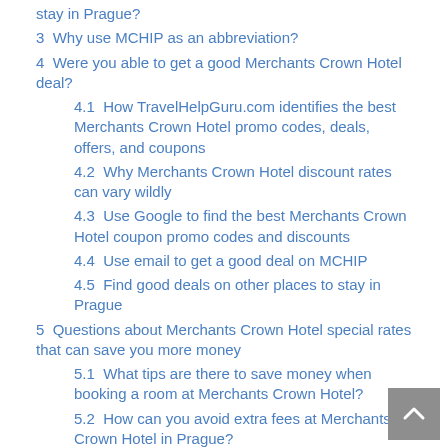stay in Prague?
3  Why use MCHIP as an abbreviation?
4  Were you able to get a good Merchants Crown Hotel deal?
4.1  How TravelHelpGuru.com identifies the best Merchants Crown Hotel promo codes, deals, offers, and coupons
4.2  Why Merchants Crown Hotel discount rates can vary wildly
4.3  Use Google to find the best Merchants Crown Hotel coupon promo codes and discounts
4.4  Use email to get a good deal on MCHIP
4.5  Find good deals on other places to stay in Prague
5  Questions about Merchants Crown Hotel special rates that can save you more money
5.1  What tips are there to save money when booking a room at Merchants Crown Hotel?
5.2  How can you avoid extra fees at Merchants Crown Hotel in Prague?
5.3  Does Merchants Crown Hotel offer holiday